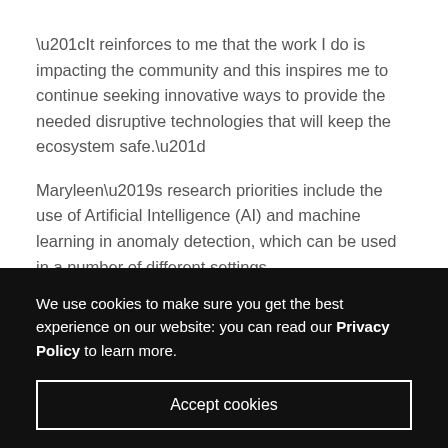“It reinforces to me that the work I do is impacting the community and this inspires me to continue seeking innovative ways to provide the needed disruptive technologies that will keep the ecosystem safe.”
Maryleen’s research priorities include the use of Artificial Intelligence (AI) and machine learning in anomaly detection, which can be used in a number of different settings.
We use cookies to make sure you get the best experience on our website: you can read our Privacy Policy to learn more.
Accept cookies